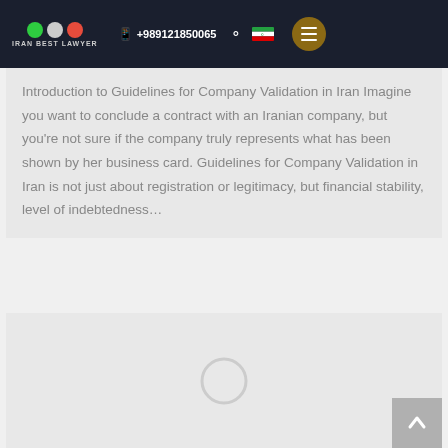IRAN BEST LAWYER | +989121850065
Introduction to Guidelines for Company Validation in Iran Imagine you want to conclude a contract with an Iranian company, but you’re not sure if the company truly represents what has been shown by her business card. Guidelines for Company Validation in Iran is not just about registration or legitimacy, but financial stability, level of indebtedness…
[Figure (other): Gray card with loading spinner circle in center, and a scroll-to-top arrow button in lower right corner]